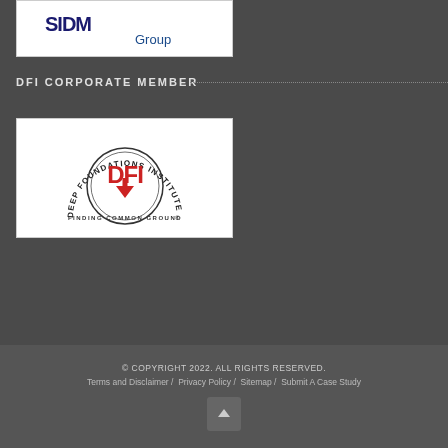[Figure (logo): IDEAL Group logo (partial) - blue letters with 'Group' text, white background]
DFI CORPORATE MEMBER
[Figure (logo): Deep Foundations Institute (DFI) logo - circular badge with red DFI letters and arrow, text 'DEEP FOUNDATIONS INSTITUTE' around top, 'FINDING COMMON GROUND®' at bottom, white background]
© COPYRIGHT 2022. ALL RIGHTS RESERVED.
Terms and Disclaimer / Privacy Policy / Sitemap / Submit A Case Study